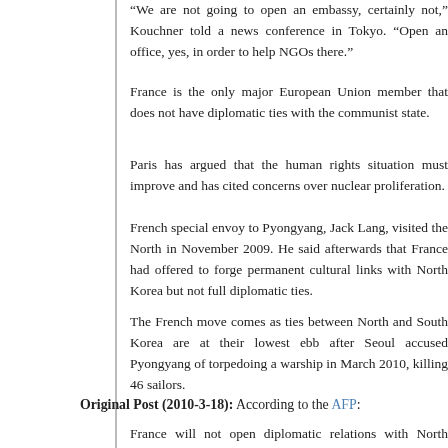“We are not going to open an embassy, certainly not,” Kouchner told a news conference in Tokyo. “Open an office, yes, in order to help NGOs there.”
France is the only major European Union member that does not have diplomatic ties with the communist state.
Paris has argued that the human rights situation must improve and has cited concerns over nuclear proliferation.
French special envoy to Pyongyang, Jack Lang, visited the North in November 2009. He said afterwards that France had offered to forge permanent cultural links with North Korea but not full diplomatic ties.
The French move comes as ties between North and South Korea are at their lowest ebb after Seoul accused Pyongyang of torpedoing a warship in March 2010, killing 46 sailors.
Original Post (2010-3-18): According to the AFP:
France will not open diplomatic relations with North Korea but plans to establish an office there to support non-governmental groups, French Foreign Minister Bernard Kouchner said Thursday.
‘We are not going to open an embassy, certainly not,’ Kouchner said at a press conference in Tokyo. ‘Open an office, yes, in order to help the NGOs (non-governmental organisations) there.’
France is the only European Union country other than Latvia that d…